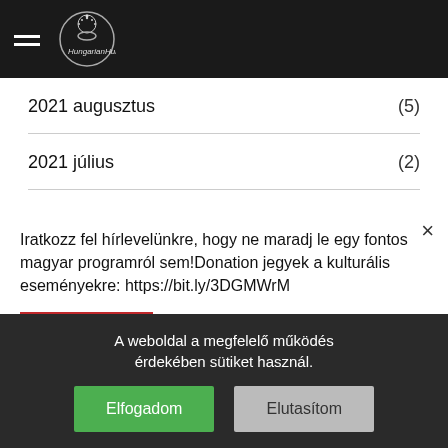[Figure (logo): HungarianHub website header with hamburger menu and circular logo]
2021 augusztus (5)
2021 július (2)
2021 június (5)
Iratkozz fel hírlevelünkre, hogy ne maradj le egy fontos magyar programról sem!Donation jegyek a kulturális eseményekre: https://bit.ly/3DGMWrM
Subscribe
2021 január
A weboldal a megfelelő működés érdekében sütiket használ.
Elfogadom
Elutasítom